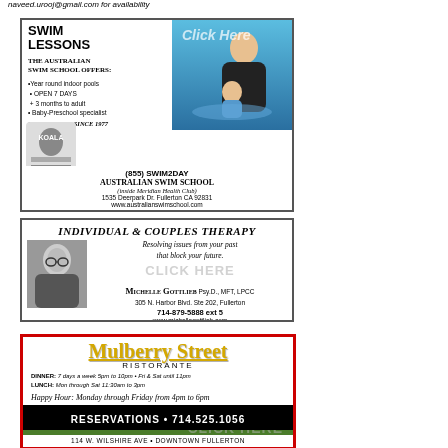naveed.urooj@gmail.com for availability
[Figure (illustration): Swim Lessons advertisement for Australian Swim School. Shows mother and baby in pool. Text: SWIM LESSONS, The Australian Swim School Offers: Year round indoor pools, OPEN 7 DAYS, 3 months to adult, Baby-Preschool specialist, SAVING LIVES SINCE 1977. (855) SWIM2DAY, AUSTRALIAN SWIM SCHOOL (inside Meridian Health Club), 1535 Deerpark Dr. Fullerton CA 92831, www.australianswimschool.com]
[Figure (illustration): Individual & Couples Therapy advertisement. Michelle Gottlieb Psy.D., MFT, LPCC. Resolving issues from your past that block your future. 305 N. Harbor Blvd. Ste 202, Fullerton. 714-879-5888 ext 5. www.michellegottlieb.com]
[Figure (illustration): Mulberry Street Ristorante advertisement. DINNER: 7 days a week 5pm to 10pm. Fri & Sat until 11pm. LUNCH: Mon through Sat 11:30am to 3pm. Happy Hour: Monday through Friday from 4pm to 6pm. RESERVATIONS 714.525.1056. 114 W. Wilshire Ave. Downtown Fullerton.]